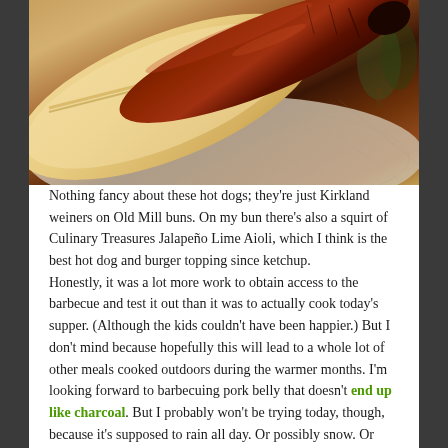[Figure (photo): Close-up photo of a hot dog (Kirkland weiner) in a bun (Old Mill bun) resting on a decorative paper plate with an illustrated pastoral scene. The sausage is dark brown and glossy, and the bun is pale golden.]
Nothing fancy about these hot dogs; they're just Kirkland weiners on Old Mill buns. On my bun there's also a squirt of Culinary Treasures Jalapeño Lime Aioli, which I think is the best hot dog and burger topping since ketchup.
Honestly, it was a lot more work to obtain access to the barbecue and test it out than it was to actually cook today's supper. (Although the kids couldn't have been happier.) But I don't mind because hopefully this will lead to a whole lot of other meals cooked outdoors during the warmer months. I'm looking forward to barbecuing pork belly that doesn't end up like charcoal. But I probably won't be trying today, though, because it's supposed to rain all day. Or possibly snow. Or both. Thus is spring.